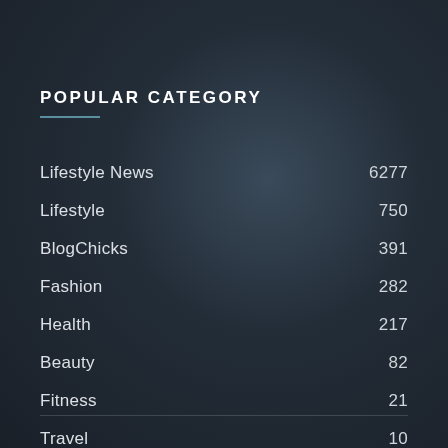POPULAR CATEGORY
| Category | Count |
| --- | --- |
| Lifestyle News | 6277 |
| Lifestyle | 750 |
| BlogChicks | 391 |
| Fashion | 282 |
| Health | 217 |
| Beauty | 82 |
| Fitness | 21 |
| Travel | 10 |